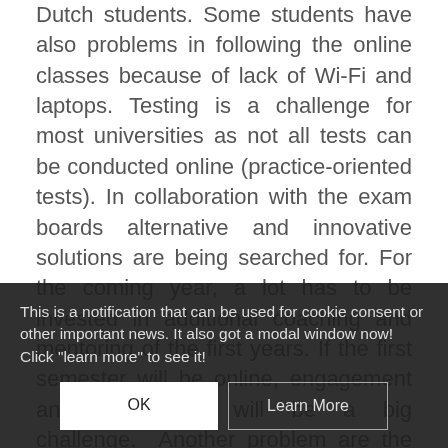Dutch students. Some students have also problems in following the online classes because of lack of Wi-Fi and laptops. Testing is a challenge for most universities as not all tests can be conducted online (practice-oriented tests). In collaboration with the exam boards alternative and innovative solutions are being searched for. For the coming year, a lot has to be invested in additional coaching and mentoring of the first years. If the first semester will be online, engagement and connection will be a big challenge. Another problem are the apprenticeships as most apprenticeships have been temporarily cancelled or reduced — students who cannot graduate in time because of the crisis and/or have
This is a notification that can be used for cookie consent or other important news. It also got a modal window now! Click "learn more" to see it!